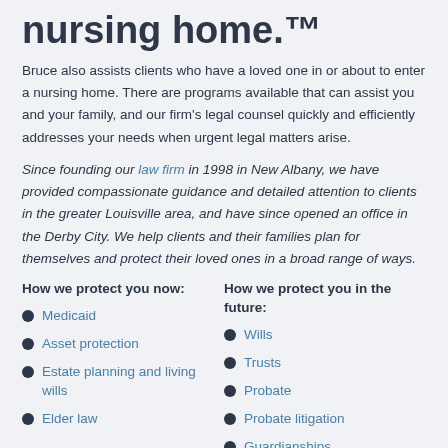nursing home.™
Bruce also assists clients who have a loved one in or about to enter a nursing home. There are programs available that can assist you and your family, and our firm's legal counsel quickly and efficiently addresses your needs when urgent legal matters arise.
Since founding our law firm in 1998 in New Albany, we have provided compassionate guidance and detailed attention to clients in the greater Louisville area, and have since opened an office in the Derby City. We help clients and their families plan for themselves and protect their loved ones in a broad range of ways.
How we protect you now:
How we protect you in the future:
Medicaid
Asset protection
Estate planning and living wills
Elder law
Wills
Trusts
Probate
Probate litigation
Guardianships